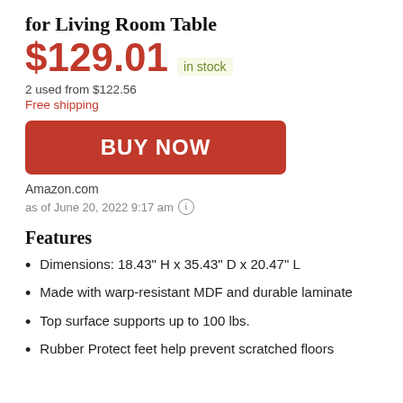for Living Room Table
$129.01  in stock
2 used from $122.56
Free shipping
[Figure (other): BUY NOW button (red rounded rectangle)]
Amazon.com
as of June 20, 2022 9:17 am ⓘ
Features
Dimensions: 18.43" H x 35.43" D x 20.47" L
Made with warp-resistant MDF and durable laminate
Top surface supports up to 100 lbs.
Rubber Protect feet help prevent scratched floors